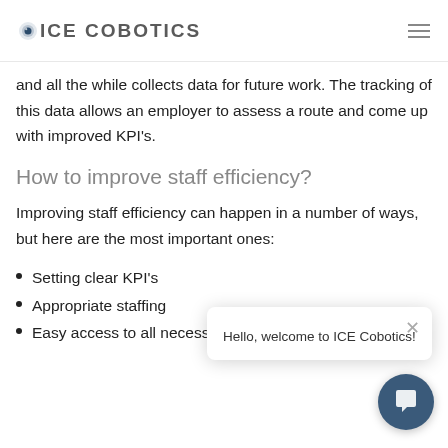ICE COBOTICS
and all the while collects data for future work. The tracking of this data allows an employer to assess a route and come up with improved KPI's.
How to improve staff efficiency?
Improving staff efficiency can happen in a number of ways, but here are the most important ones:
Setting clear KPI's
Appropriate staffing
Easy access to all necessary materials